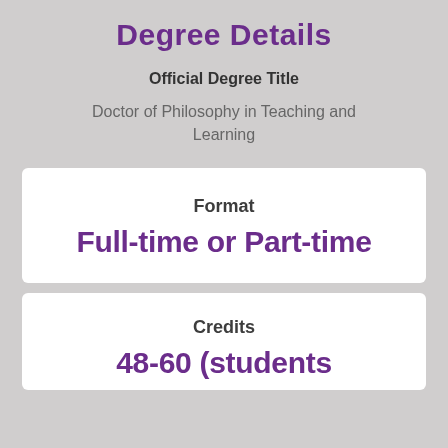Degree Details
Official Degree Title
Doctor of Philosophy in Teaching and Learning
Format
Full-time or Part-time
Credits
48-60 (students